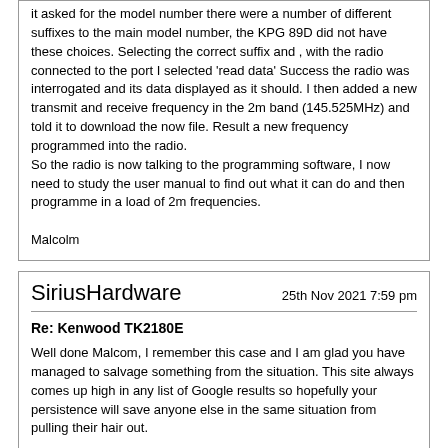it asked for the model number there were a number of different suffixes to the main model number, the KPG 89D did not have these choices. Selecting the correct suffix and , with the radio connected to the port I selected 'read data' Success the radio was interrogated and its data displayed as it should. I then added a new transmit and receive frequency in the 2m band (145.525MHz) and told it to download the now file. Result a new frequency programmed into the radio.
So the radio is now talking to the programming software, I now need to study the user manual to find out what it can do and then programme in a load of 2m frequencies.

Malcolm
SiriusHardware
Re: Kenwood TK2180E
Well done Malcom, I remember this case and I am glad you have managed to salvage something from the situation. This site always comes up high in any list of Google results so hopefully your persistence will save anyone else in the same situation from pulling their hair out.
All times are GMT. The time now is 11:58 am.
Powered by vBulletin®